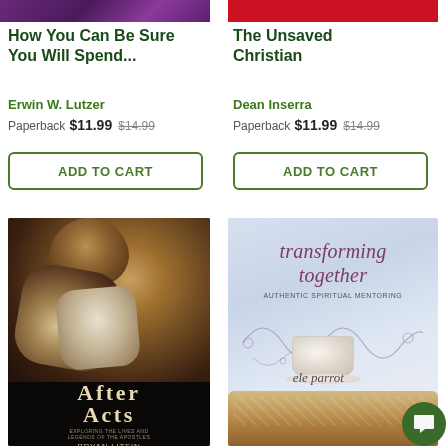[Figure (photo): Partial book cover of 'How You Can Be Sure You Will Spend...' - purple/dark cropped top strip]
[Figure (photo): Partial book cover of 'The Unsaved Christian' - red cropped top strip]
How You Can Be Sure You Will Spend...
The Unsaved Christian
Erwin W. Lutzer
Dean Inserra
Paperback  $11.99  $14.99
Paperback  $11.99  $14.99
ADD TO CART
ADD TO CART
[Figure (photo): Book cover of 'After Acts: Exploring the Lives and Legends of the Apostles' by Bryan Litfin, featuring a Caravaggio-style painting of struggling figures]
[Figure (photo): Book cover of 'Transforming Together: Authentic Spiritual Mentoring' by ele parrot, featuring a light blue/grey design with swirls, a cup of tea, and bread]